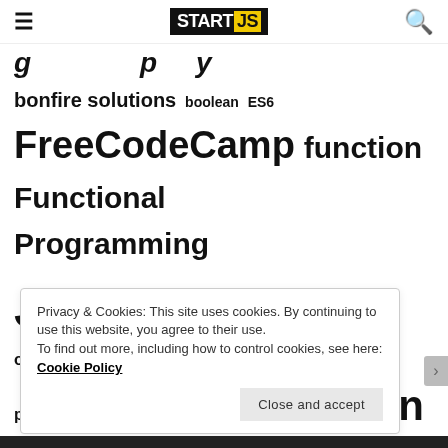START JS
bonfire solutions boolean ES6 FreeCodeCamp function Functional Programming JavaScript loop Node.js object properties objects operator Solution Solutions String string methods
Privacy & Cookies: This site uses cookies. By continuing to use this website, you agree to their use.
To find out more, including how to control cookies, see here: Cookie Policy
Close and accept